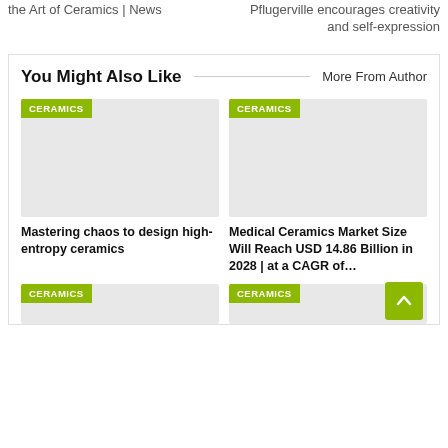the Art of Ceramics | News
Pflugerville encourages creativity and self-expression
You Might Also Like
More From Author
[Figure (photo): Ceramics article card image placeholder - grey rectangle with CERAMICS badge]
Mastering chaos to design high-entropy ceramics
[Figure (photo): Ceramics article card image placeholder - grey rectangle with CERAMICS badge]
Medical Ceramics Market Size Will Reach USD 14.86 Billion in 2028 | at a CAGR of…
[Figure (photo): Ceramics article card image placeholder bottom left]
[Figure (photo): Ceramics article card image placeholder bottom right]